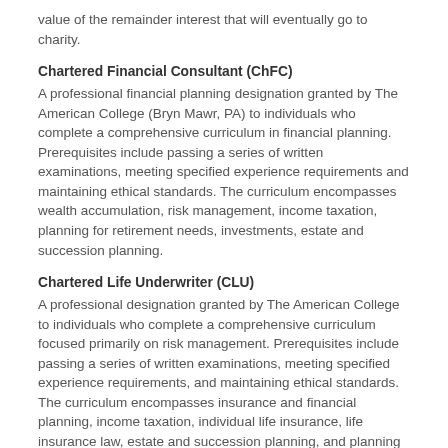value of the remainder interest that will eventually go to charity.
Chartered Financial Consultant (ChFC)
A professional financial planning designation granted by The American College (Bryn Mawr, PA) to individuals who complete a comprehensive curriculum in financial planning. Prerequisites include passing a series of written examinations, meeting specified experience requirements and maintaining ethical standards. The curriculum encompasses wealth accumulation, risk management, income taxation, planning for retirement needs, investments, estate and succession planning.
Chartered Life Underwriter (CLU)
A professional designation granted by The American College to individuals who complete a comprehensive curriculum focused primarily on risk management. Prerequisites include passing a series of written examinations, meeting specified experience requirements, and maintaining ethical standards. The curriculum encompasses insurance and financial planning, income taxation, individual life insurance, life insurance law, estate and succession planning, and planning for business owners and professionals.